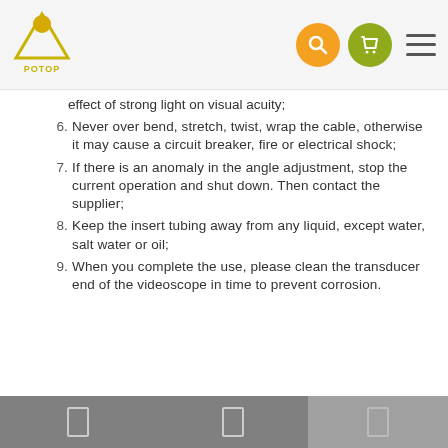POTOP logo with search, cart, and menu icons
effect of strong light on visual acuity;
6. Never over bend, stretch, twist, wrap the cable, otherwise it may cause a circuit breaker, fire or electrical shock;
7. If there is an anomaly in the angle adjustment, stop the current operation and shut down. Then contact the supplier;
8. Keep the insert tubing away from any liquid, except water, salt water or oil;
9. When you complete the use, please clean the transducer end of the videoscope in time to prevent corrosion.